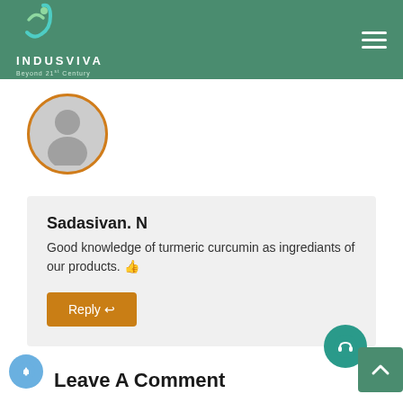[Figure (logo): IndusViva logo with teal/green J-shaped icon and text INDUSVIVA Beyond 21st Century on dark green header]
[Figure (photo): Default grey user avatar circle with orange border]
Sadasivan. N
Good knowledge of turmeric curcumin as ingrediants of our products. 👍
Reply
Leave A Comment